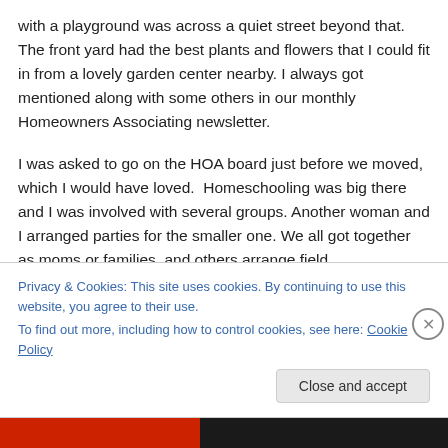with a playground was across a quiet street beyond that. The front yard had the best plants and flowers that I could fit in from a lovely garden center nearby. I always got mentioned along with some others in our monthly Homeowners Associating newsletter.
I was asked to go on the HOA board just before we moved, which I would have loved.  Homeschooling was big there and I was involved with several groups. Another woman and I arranged parties for the smaller one. We all got together as moms or families, and others arrange field
Privacy & Cookies: This site uses cookies. By continuing to use this website, you agree to their use.
To find out more, including how to control cookies, see here: Cookie Policy